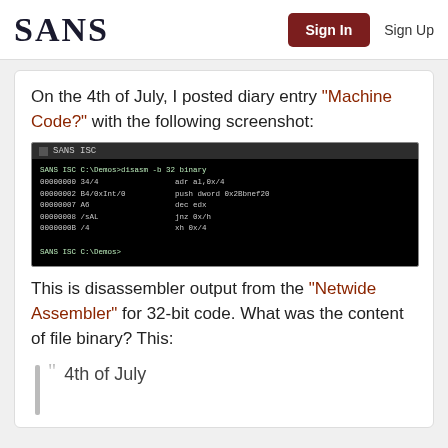SANS | Sign In | Sign Up
On the 4th of July, I posted diary entry "Machine Code?" with the following screenshot:
[Figure (screenshot): Terminal screenshot showing NASM disassembler output for 32-bit binary code. Title bar reads 'SANS ISC'. Commands show disassembly of a binary file with assembly instructions including adr, push dword, dec edx, jnz, and xh.]
This is disassembler output from the "Netwide Assembler" for 32-bit code. What was the content of file binary? This:
4th of July